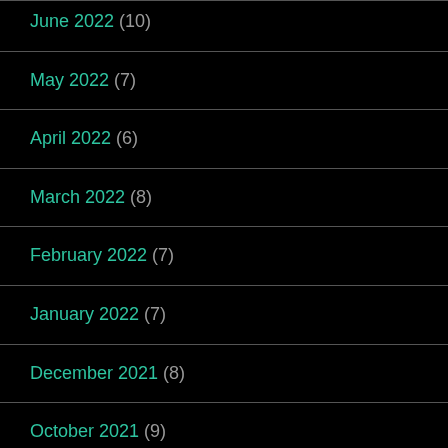June 2022 (10)
May 2022 (7)
April 2022 (6)
March 2022 (8)
February 2022 (7)
January 2022 (7)
December 2021 (8)
October 2021 (9)